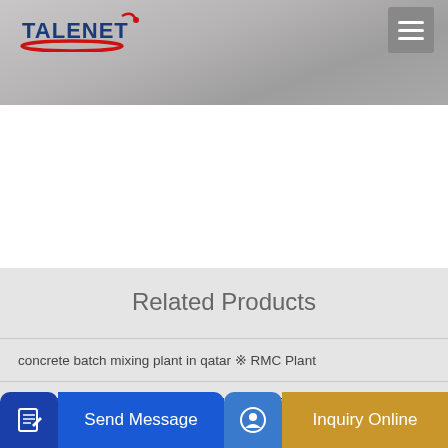TALENET
[Figure (photo): Textured concrete/stone surface hero image background]
Related Products
concrete batch mixing plant in qatar ※ RMC Plant
Used Trucks Concrete pumps truck for sale Tradus
From Mehmet PAC to... Mehmet Concrete...
Send Message
Inquiry Online